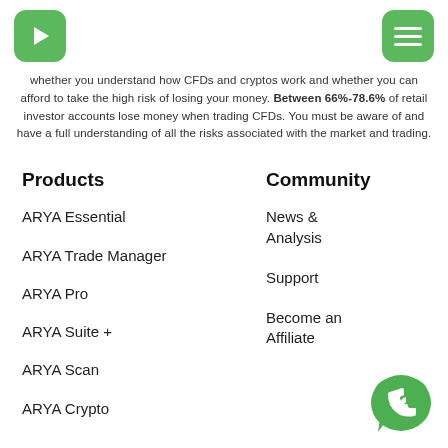ARYA (play button logo) | hamburger menu
whether you understand how CFDs and cryptos work and whether you can afford to take the high risk of losing your money. Between 66%-78.6% of retail investor accounts lose money when trading CFDs. You must be aware of and have a full understanding of all the risks associated with the market and trading.
Products
ARYA Essential
ARYA Trade Manager
ARYA Pro
ARYA Suite +
ARYA Scan
ARYA Crypto
Community
News & Analysis
Support
Become an Affiliate
[Figure (logo): WhatsApp green chat bubble icon button in bottom right corner]